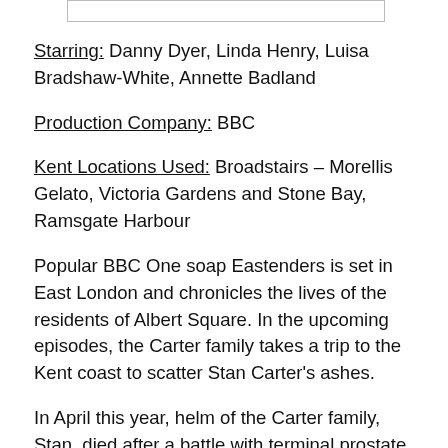[Figure (other): Empty white rectangle with border at top of page]
Starring: Danny Dyer, Linda Henry, Luisa Bradshaw-White, Annette Badland
Production Company: BBC
Kent Locations Used: Broadstairs – Morellis Gelato, Victoria Gardens and Stone Bay, Ramsgate Harbour
Popular BBC One soap Eastenders is set in East London and chronicles the lives of the residents of Albert Square. In the upcoming episodes, the Carter family takes a trip to the Kent coast to scatter Stan Carter's ashes.
In April this year, helm of the Carter family, Stan, died after a battle with terminal prostate cancer. When the family realise Stan's ashes have gone missing, Tina